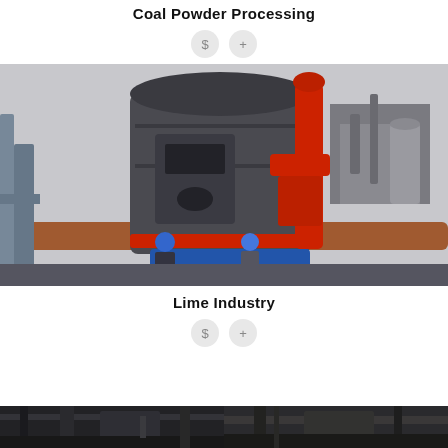Coal Powder Processing
[Figure (other): Two circular icon buttons: a dollar sign ($) and a plus (+) symbol, light gray background]
[Figure (photo): Industrial coal powder processing mill machine (large gray and red vertical mill) being installed or inspected at an industrial site, with two workers wearing blue hard hats standing nearby. Background shows industrial buildings and a large pipe.]
Lime Industry
[Figure (other): Two circular icon buttons: a dollar sign ($) and a plus (+) symbol, light gray background]
[Figure (photo): Bottom strip showing two partial photos side by side of industrial/lime industry equipment or facilities, cropped at bottom of page.]